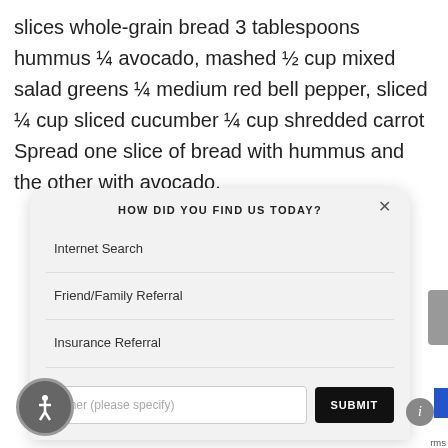slices whole-grain bread 3 tablespoons hummus ¼ avocado, mashed ½ cup mixed salad greens ¼ medium red bell pepper, sliced ¼ cup sliced cucumber ¼ cup shredded carrot Spread one slice of bread with hummus and the other with avocado.
[Figure (screenshot): A modal popup dialog titled 'HOW DID YOU FIND US TODAY?' with a close button (×). It contains three list items: 'Internet Search', 'Friend/Family Referral', 'Insurance Referral'. At the bottom there is a text input placeholder 'Other (please specify)' and a black SUBMIT button. A circular accessibility icon appears bottom-left and an info icon bottom-right.]